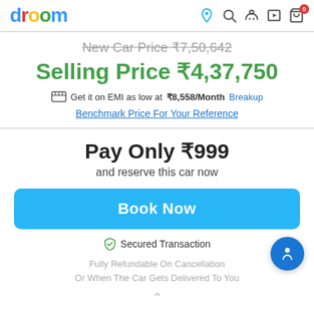droom
New Car Price ₹7,50,642
Selling Price ₹4,37,750
Get it on EMI as low at ₹8,558/Month Breakup
Benchmark Price For Your Reference
Pay Only ₹999
and reserve this car now
Book Now
Secured Transaction
Fully Refundable On Cancellation Or When The Car Gets Delivered To You